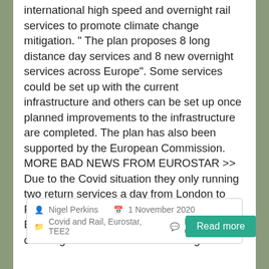international high speed and overnight rail services to promote climate change mitigation. " The plan proposes 8 long distance day services and 8 new overnight services across Europe". Some services could be set up with the current infrastructure and others can be set up once planned improvements to the infrastructure are completed. The plan has also been supported by the European Commission. MORE BAD NEWS FROM EUROSTAR >> Due to the Covid situation they only running two return services a day from London to Paris and only one daily return service to Brussels. We then issued a press release outlining our concerns over the long-term
Nigel Perkins  1 November 2020  Covid and Rail, Eurostar, TEE2  No Comments
Read more